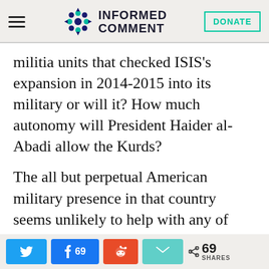Informed Comment — DONATE
militia units that checked ISIS’s expansion in 2014-2015 into its military or will it? How much autonomy will President Haider al-Abadi allow the Kurds?
The all but perpetual American military presence in that country seems unlikely to help with any of Iraq’s countless problems. And given that, like just about anyone else on this planet, Arabs don’t take kindly to even the most minimalist of occupations,
Social share buttons: Twitter, Facebook 69, Reddit, Email — 69 SHARES